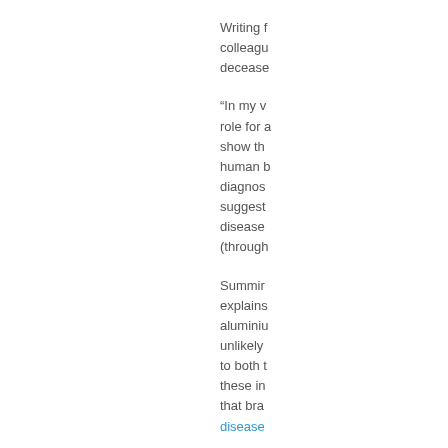Writing f colleague decease
“In my v role for a show th human b diagnos suggest disease (through
Summir explains aluminiu unlikely to both t these in that bra disease
As far a conclud precauti